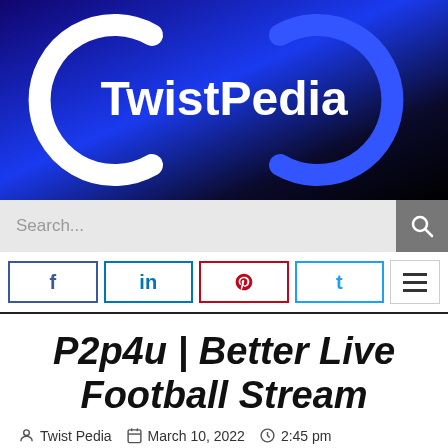[Figure (logo): TwistPedia logo with infinity-style swoosh icon and white bold text on dark blue/black gradient background]
[Figure (screenshot): Search bar with placeholder text 'Search...' and a search icon button on gray background]
[Figure (infographic): Social share buttons for Facebook (f), LinkedIn (in), Pinterest (p), Twitter (t) and a hamburger menu icon]
P2p4u | Better Live Football Stream
Twist Pedia   March 10, 2022   2:45 pm
No Comments